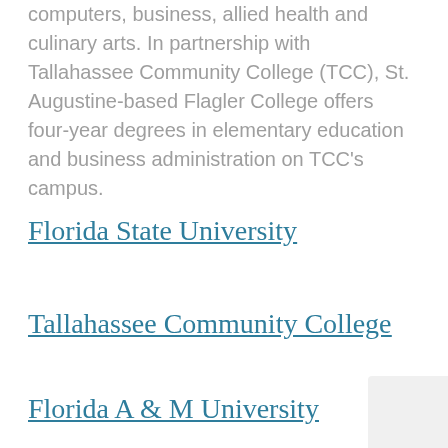computers, business, allied health and culinary arts. In partnership with Tallahassee Community College (TCC), St. Augustine-based Flagler College offers four-year degrees in elementary education and business administration on TCC's campus.
Florida State University
Tallahassee Community College
Florida A & M University